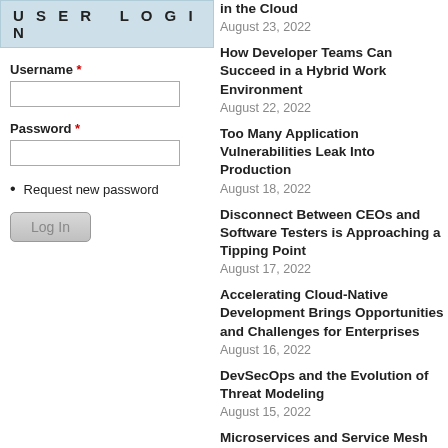USER LOGIN
Username *
Password *
Request new password
Log In
in the Cloud
August 23, 2022
How Developer Teams Can Succeed in a Hybrid Work Environment
August 22, 2022
Too Many Application Vulnerabilities Leak Into Production
August 18, 2022
Disconnect Between CEOs and Software Testers is Approaching a Tipping Point
August 17, 2022
Accelerating Cloud-Native Development Brings Opportunities and Challenges for Enterprises
August 16, 2022
DevSecOps and the Evolution of Threat Modeling
August 15, 2022
Microservices and Service Mesh Have Proved Critical to Modern Digital Transformation Efforts
August 11, 2022